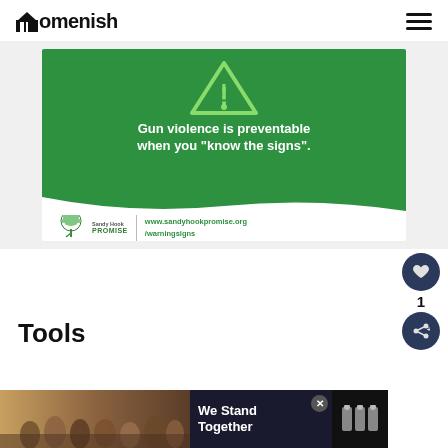Homenish
[Figure (infographic): Sandy Hook Promise public service announcement. Green background with warning triangle icon at top. Text reads: Gun violence is preventable when you "know the signs". Bottom white section shows Sandy Hook Promise logo and website www.sandyhookpromise.org/warningsigns]
Tools
[Figure (photo): Advertisement banner at bottom showing group of people with arms around each other, text reads 'We Stand Together' on dark background with logo on right]